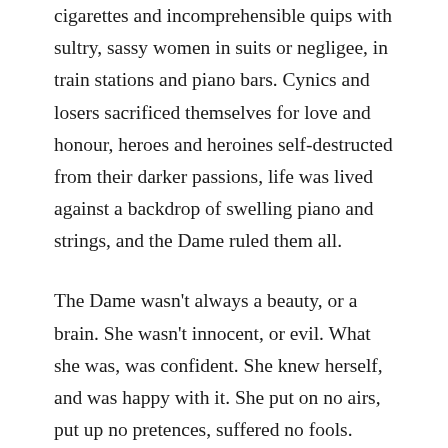cigarettes and incomprehensible quips with sultry, sassy women in suits or negligee, in train stations and piano bars. Cynics and losers sacrificed themselves for love and honour, heroes and heroines self-destructed from their darker passions, life was lived against a backdrop of swelling piano and strings, and the Dame ruled them all.
The Dame wasn't always a beauty, or a brain. She wasn't innocent, or evil. What she was, was confident. She knew herself, and was happy with it. She put on no airs, put up no pretences, suffered no fools. Tough and tender by parts, she went after her goals, and even if she failed, you knew she'd be okay. There were many takes on the Dame – Katharine Hepburn's tomboy athleticism, Bette Davis' brittle sharpness, Barbara Stanwyck's hardness, Ava Gardner's voluptuousness – but the epitome was the wonderful Lauren